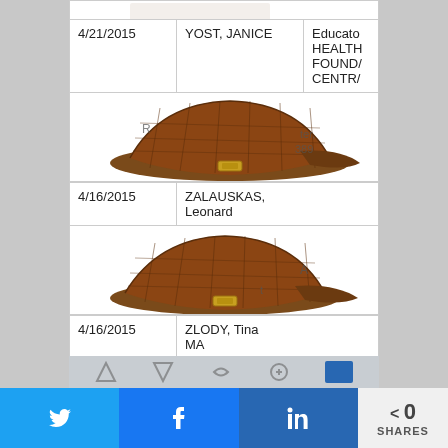| Date | Name | Organization |
| --- | --- | --- |
| 4/21/2015 | YOST, JANICE | Educato HEALTH FOUND/ CENTR/ |
| 4/16/2015 | ZALAUSKAS, Leonard |  |
| 4/16/2015 | ZLODY, Tina MA |  |
Bank-Reported Receipt Total: